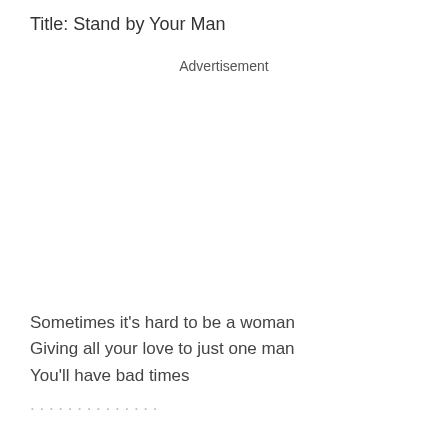Title: Stand by Your Man
Advertisement
Sometimes it's hard to be a woman
Giving all your love to just one man
You'll have bad times
...